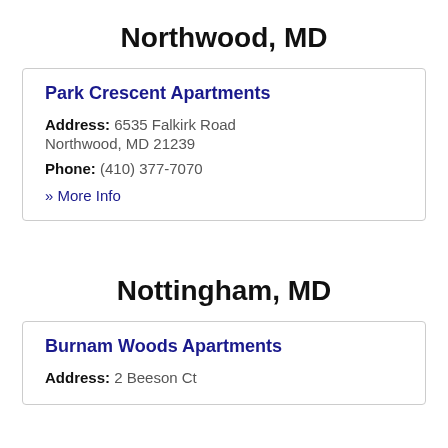Northwood, MD
Park Crescent Apartments
Address: 6535 Falkirk Road Northwood, MD 21239
Phone: (410) 377-7070
» More Info
Nottingham, MD
Burnam Woods Apartments
Address: 2 Beeson Ct